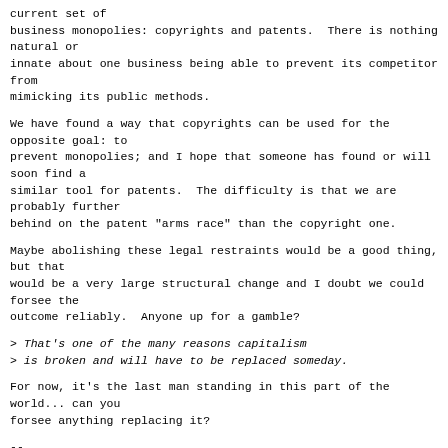current set of
business monopolies: copyrights and patents.  There is nothing natural or
innate about one business being able to prevent its competitor from
mimicking its public methods.
We have found a way that copyrights can be used for the opposite goal: to
prevent monopolies; and I hope that someone has found or will soon find a
similar tool for patents.  The difficulty is that we are probably further
behind on the patent "arms race" than the copyright one.
Maybe abolishing these legal restraints would be a good thing, but that
would be a very large structural change and I doubt we could forsee the
outcome reliably.  Anyone up for a gamble?
> That's one of the many reasons capitalism
> is broken and will have to be replaced someday.
For now, it's the last man standing in this part of the world... can you
forsee anything replacing it?
--
MRI